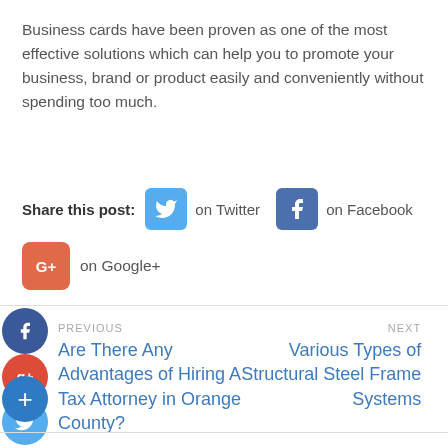Business cards have been proven as one of the most effective solutions which can help you to promote your business, brand or product easily and conveniently without spending too much.
Share this post: on Twitter on Facebook on Google+
PREVIOUS
Are There Any Advantages of Hiring A Tax Attorney in Orange County?
NEXT
Various Types of Structural Steel Frame Systems